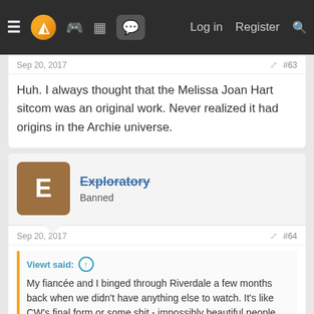Navigation bar with menu, logo, icons, Log in, Register, Search
Sep 20, 2017   #63
Huh. I always thought that the Melissa Joan Hart sitcom was an original work. Never realized it had origins in the Archie universe.
Exploratory
Banned
Sep 20, 2017   #64
Viewt said: ↑
My fiancée and I binged through Riverdale a few months back when we didn't have anything else to watch. It's like CW's final form or some shit - impossibly beautiful people, moody drama, clearly being shot in Vancouver, etc. It had its moments, though. Not particularly my thing, but I enjoyed it for what it was.